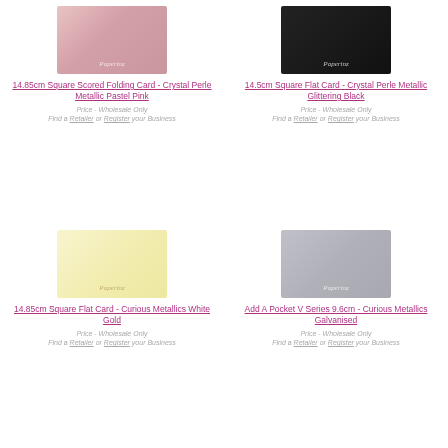[Figure (photo): Pastel pink metallic card sample with Paperinz logo]
14.85cm Square Scored Folding Card - Crystal Perle Metallic Pastel Pink
Price - Wholesale Only
Find a Retailer or Register your Business
[Figure (photo): Glittering black metallic card sample with Paperinz logo]
14.5cm Square Flat Card - Crystal Perle Metallic Glittering Black
Price - Wholesale Only
Find a Retailer or Register your Business
[Figure (photo): White gold metallic card sample with Paperinz logo]
14.85cm Square Flat Card - Curious Metallics White Gold
Price - Wholesale Only
Find a Retailer or Register your Business
[Figure (photo): Galvanised silver metallic card sample with Paperinz logo]
Add A Pocket V Series 9.6cm - Curious Metallics Galvanised
Price - Wholesale Only
Find a Retailer or Register your Business